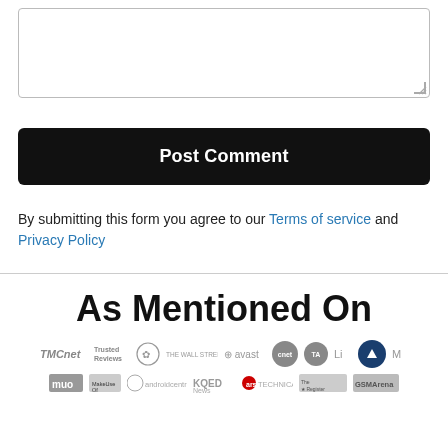[Figure (screenshot): A comment form textarea (empty, resizable) with a border and resize handle at bottom-right corner.]
Post Comment
By submitting this form you agree to our Terms of service and Privacy Policy
As Mentioned On
[Figure (logo): Row of publication/media logos: TMCnet, Trusted Reviews, Raspberry Pi, The Wall Street Journal, avast, cnet, TA, Li, arrow-up circle, M, MUO, MakeUseOf, androidcentral, KQED News, ars technica, The Register, GSMArena]